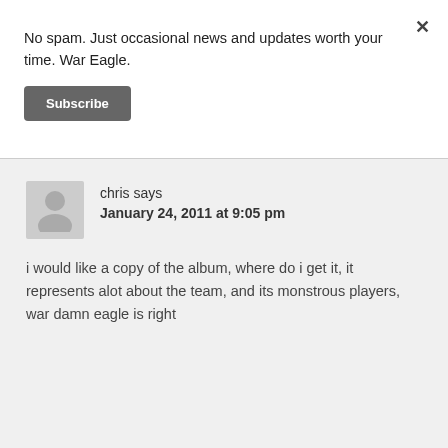No spam. Just occasional news and updates worth your time. War Eagle.
Subscribe
chris says
January 24, 2011 at 9:05 pm
i would like a copy of the album, where do i get it, it represents alot about the team, and its monstrous players, war damn eagle is right